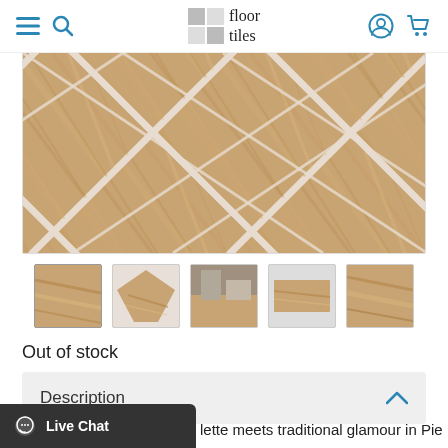floor tiles — navigation header with hamburger menu, search, logo, user account, and cart icons
[Figure (photo): Close-up photo of beige/tan travertine-style floor tiles laid diagonally with white grout lines, showing a natural stone texture]
[Figure (photo): Thumbnail 1: flat view of beige travertine tile]
[Figure (photo): Thumbnail 2: hexagonal/angled view of tile]
[Figure (photo): Thumbnail 3: bathroom setting with tiles]
[Figure (photo): Thumbnail 4: small rectangular tile view]
[Figure (photo): Thumbnail 5: close-up detail of tile surface]
Out of stock
Description
lette meets traditional glamour in Pietra Vezio